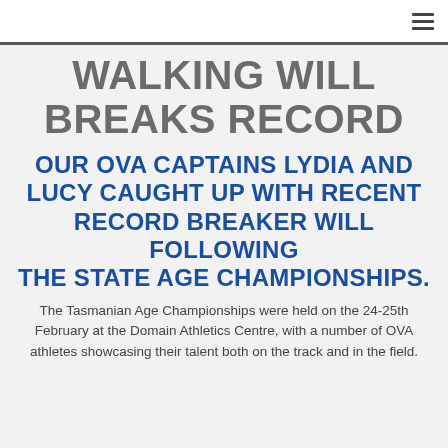≡
WALKING WILL BREAKS RECORD
OUR OVA CAPTAINS LYDIA AND LUCY CAUGHT UP WITH RECENT RECORD BREAKER WILL FOLLOWING THE STATE AGE CHAMPIONSHIPS.
The Tasmanian Age Championships were held on the 24-25th February at the Domain Athletics Centre, with a number of OVA athletes showcasing their talent both on the track and in the field.